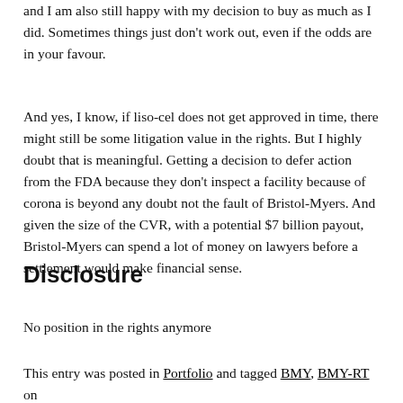and I am also still happy with my decision to buy as much as I did. Sometimes things just don't work out, even if the odds are in your favour.
And yes, I know, if liso-cel does not get approved in time, there might still be some litigation value in the rights. But I highly doubt that is meaningful. Getting a decision to defer action from the FDA because they don't inspect a facility because of corona is beyond any doubt not the fault of Bristol-Myers. And given the size of the CVR, with a potential $7 billion payout, Bristol-Myers can spend a lot of money on lawyers before a settlement would make financial sense.
Disclosure
No position in the rights anymore
This entry was posted in Portfolio and tagged BMY, BMY-RT on